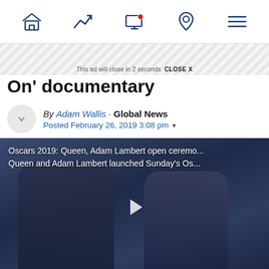Navigation bar with home, trending, video, location, and menu icons
This ad will close in 2 seconds  CLOSE X
On' documentary
By Adam Wallis · Global News
Posted February 26, 2019 3:08 pm
[Figure (photo): Video thumbnail showing two people (Oscars 2019: Queen, Adam Lambert open ceremony). White play button overlay. Caption: Oscars 2019: Queen, Adam Lambert open ceremo... / Queen and Adam Lambert launched Sunday's Os...]